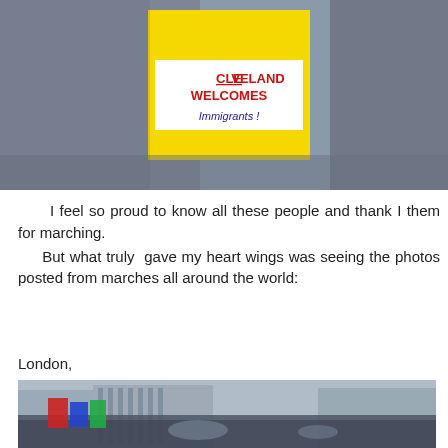[Figure (photo): Two people holding a yellow sign that reads 'CLEVELAND WELCOMES Immigrants!' at a protest or rally.]
I feel so proud to know all these people and thank I them for marching.
     But what truly gave my heart wings was seeing the photos posted from marches all around the world:
London,
[Figure (photo): Aerial view of a large crowd gathered in a public square in London for a march or rally, with classical buildings visible in the background.]